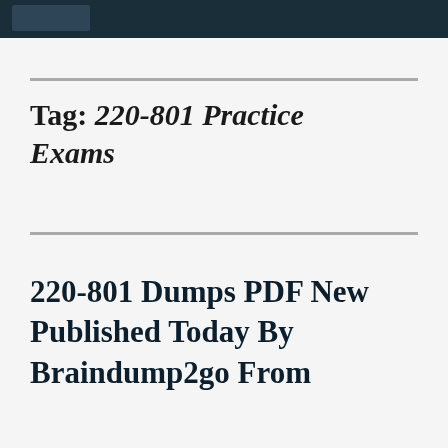Tag: 220-801 Practice Exams
220-801 Dumps PDF New Published Today By Braindump2go From